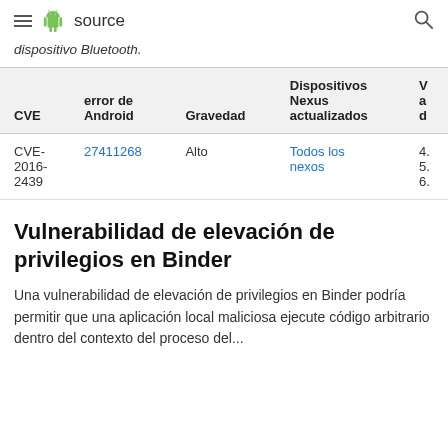≡ source
dispositivo Bluetooth.
| CVE | error de Android | Gravedad | Dispositivos Nexus actualizados | V a d |
| --- | --- | --- | --- | --- |
| CVE-2016-2439 | 27411268 | Alto | Todos los nexos | 4. 5. 6. |
Vulnerabilidad de elevación de privilegios en Binder
Una vulnerabilidad de elevación de privilegios en Binder podría permitir que una aplicación local maliciosa ejecute código arbitrario dentro del contexto del proceso del...